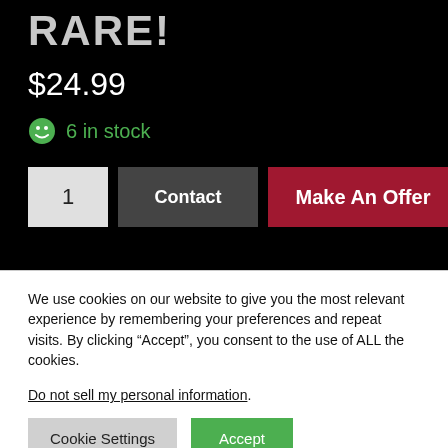RARE!
$24.99
6 in stock
1  Contact  Make An Offer
We use cookies on our website to give you the most relevant experience by remembering your preferences and repeat visits. By clicking “Accept”, you consent to the use of ALL the cookies.
Do not sell my personal information.
Cookie Settings  Accept